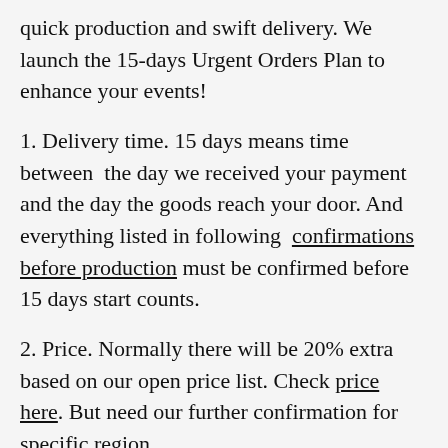quick production and swift delivery. We launch the 15-days Urgent Orders Plan to enhance your events!
1. Delivery time. 15 days means time between the day we received your payment and the day the goods reach your door. And everything listed in following confirmations before production must be confirmed before 15 days start counts.
2. Price. Normally there will be 20% extra based on our open price list. Check price here. But need our further confirmation for specific region.
3. Express freight. Already included in open price list.